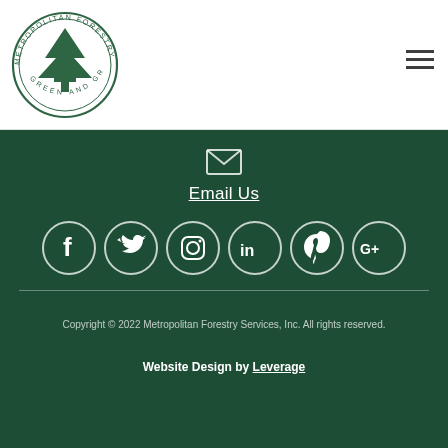[Figure (logo): Metropolitan Forestry Services circular logo with tree and text 'Green and Growing']
[Figure (other): Hamburger menu icon (three horizontal lines)]
Email Us
[Figure (other): Social media icons: Facebook, Twitter, Instagram, LinkedIn, Pinterest, Google+]
Copyright © 2022 Metropolitan Forestry Services, Inc. All rights reserved.
Website Design by Leverage